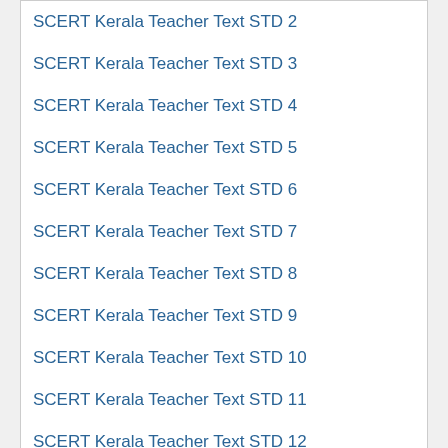SCERT Kerala Teacher Text STD 2
SCERT Kerala Teacher Text STD 3
SCERT Kerala Teacher Text STD 4
SCERT Kerala Teacher Text STD 5
SCERT Kerala Teacher Text STD 6
SCERT Kerala Teacher Text STD 7
SCERT Kerala Teacher Text STD 8
SCERT Kerala Teacher Text STD 9
SCERT Kerala Teacher Text STD 10
SCERT Kerala Teacher Text STD 11
SCERT Kerala Teacher Text STD 12
Popular Posts
[Figure (photo): Stack of colorful books with BUS label visible]
Kerala State Syllabus 5th Standard Guide, Notes & Solutions PDF Download